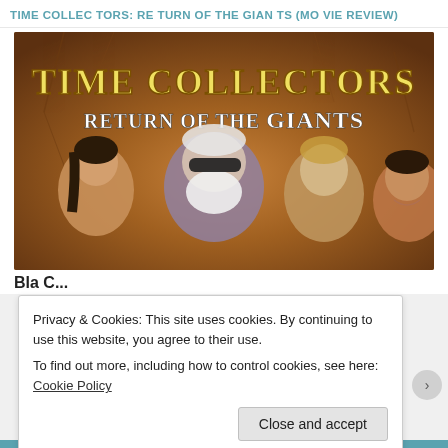TIME COLLECTORS: RETURN OF THE GIANTS (MOVIE REVIEW)
[Figure (photo): Movie poster for 'Time Collectors: Return of the Giants' showing four people — a young Asian woman, an older bearded man with sunglasses, a young blond man, and a young Asian man — in front of a cracked earth/stone background with the title text 'TIME COLLECTORS RETURN OF THE GIANTS' in stylized lettering.]
Privacy & Cookies: This site uses cookies. By continuing to use this website, you agree to their use.
To find out more, including how to control cookies, see here: Cookie Policy
Close and accept